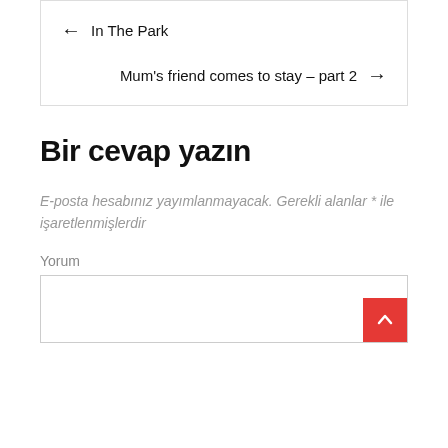← In The Park
Mum's friend comes to stay – part 2 →
Bir cevap yazın
E-posta hesabınız yayımlanmayacak. Gerekli alanlar * ile işaretlenmişlerdir
Yorum